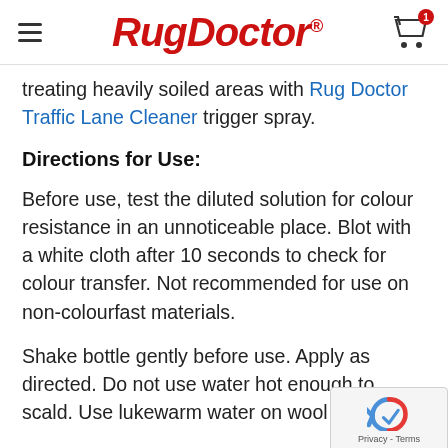Rug Doctor
treating heavily soiled areas with Rug Doctor Traffic Lane Cleaner trigger spray.
Directions for Use:
Before use, test the diluted solution for colour resistance in an unnoticeable place. Blot with a white cloth after 10 seconds to check for colour transfer. Not recommended for use on non-colourfast materials.
Shake bottle gently before use. Apply as directed. Do not use water hot enough to scald. Use lukewarm water on wool carpe